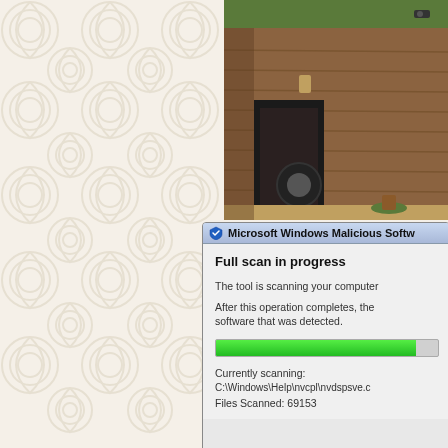[Figure (illustration): Decorative background pattern with repeating swirl/spiral motifs in light beige/cream tones on the left half of the page.]
[Figure (photo): Photograph of a modern building exterior with wooden/brown cladding, green roof edge, a dark doorway, a vehicle tire visible inside, and a potted plant. Appears to be a residential or commercial property.]
[Figure (screenshot): Microsoft Windows Malicious Software Removal Tool dialog showing 'Full scan in progress'. Includes text about scanning, a green progress bar, currently scanning path C:\Windows\Help\nvcpl\nvdspsve.c, and Files Scanned: 69153.]